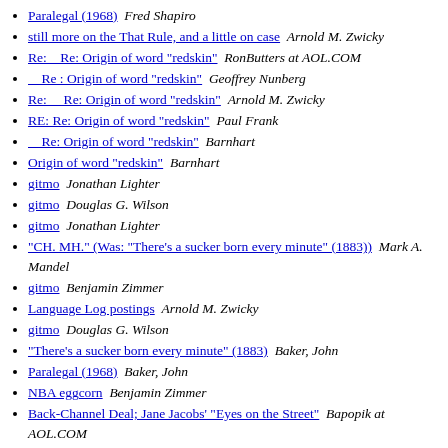Paralegal (1968)  Fred Shapiro
still more on the That Rule, and a little on case  Arnold M. Zwicky
Re:   Re: Origin of word "redskin"  RonButters at AOL.COM
Re : Origin of word "redskin"  Geoffrey Nunberg
Re:    Re: Origin of word "redskin"  Arnold M. Zwicky
RE: Re: Origin of word "redskin"  Paul Frank
Re: Origin of word "redskin"  Barnhart
Origin of word "redskin"  Barnhart
gitmo  Jonathan Lighter
gitmo  Douglas G. Wilson
gitmo  Jonathan Lighter
"CH. MH." (Was: "There's a sucker born every minute" (1883))  Mark A. Mandel
gitmo  Benjamin Zimmer
Language Log postings  Arnold M. Zwicky
gitmo  Douglas G. Wilson
"There's a sucker born every minute" (1883)  Baker, John
Paralegal (1968)  Baker, John
NBA eggcorn  Benjamin Zimmer
Back-Channel Deal; Jane Jacobs' "Eyes on the Street"  Bapopik at AOL.COM
more on "soon before"  Arnold M. Zwicky
eggcorn  Arnold M. Zwicky
Re: Re:***Re: Origin of word "redskin"  Ron Butt...